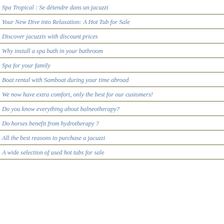Spa Tropical : Se détendre dans un jacuzzi
Your New Dive into Relaxation: A Hot Tub for Sale
Discover jacuzzis with discount prices
Why install a spa bath in your bathroom
Spa for your family
Boat rental with Samboat during your time abroad
We now have extra comfort, only the best for our customers!
Do you know everything about balneotherapy?
Do horses benefit from hydrotherapy ?
All the best reasons to purchase a jacuzzi
A wide selection of used hot tubs for sale